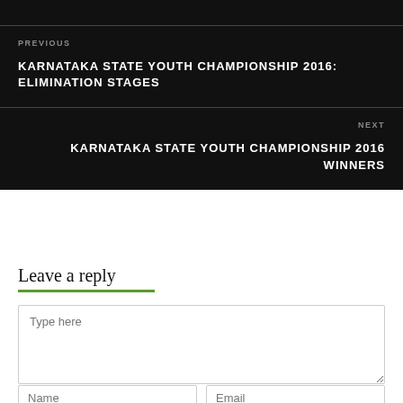PREVIOUS
KARNATAKA STATE YOUTH CHAMPIONSHIP 2016: ELIMINATION STAGES
NEXT
KARNATAKA STATE YOUTH CHAMPIONSHIP 2016 WINNERS
Leave a reply
Type here
Name
Email